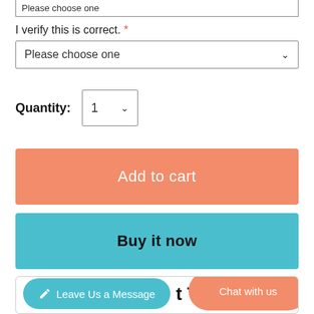[Figure (screenshot): Top portion of a product page form showing a partially visible input box with 'Please choose one' placeholder text]
I verify this is correct. *
[Figure (screenshot): Dropdown select box with 'Please choose one' and a chevron arrow]
Quantity: 1
[Figure (screenshot): Orange 'Add to cart' button]
[Figure (screenshot): Teal 'Buy it now' button]
[Figure (screenshot): Bottom section with teal 'Leave Us a Message' button, partial 't Tog' text, and orange 'Chat with us' button]